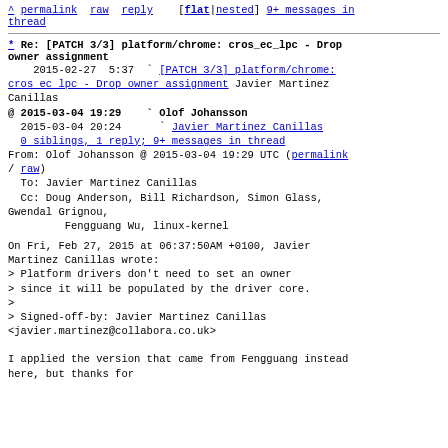^ permalink raw reply  [flat|nested] 9+ messages in thread
* Re: [PATCH 3/3] platform/chrome: cros_ec_lpc - Drop owner assignment
2015-02-27  5:37 ` [PATCH 3/3] platform/chrome: cros ec lpc - Drop owner assignment Javier Martinez Canillas
@ 2015-03-04 19:29   ` Olof Johansson
  2015-03-04 20:24     ` Javier Martinez Canillas
  0 siblings, 1 reply; 9+ messages in thread
From: Olof Johansson @ 2015-03-04 19:29 UTC (permalink / raw)
To: Javier Martinez Canillas
Cc: Doug Anderson, Bill Richardson, Simon Glass, Gwendal Grignou,
        Fengguang Wu, linux-kernel
On Fri, Feb 27, 2015 at 06:37:50AM +0100, Javier Martinez Canillas wrote:
> Platform drivers don't need to set an owner
> since it will be populated by the driver core.
>
> Signed-off-by: Javier Martinez Canillas <javier.martinez@collabora.co.uk>

I applied the version that came from Fengguang instead here, but thanks for